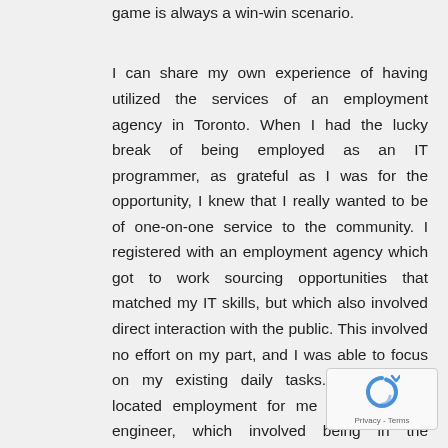game is always a win-win scenario.
I can share my own experience of having utilized the services of an employment agency in Toronto. When I had the lucky break of being employed as an IT programmer, as grateful as I was for the opportunity, I knew that I really wanted to be of one-on-one service to the community. I registered with an employment agency which got to work sourcing opportunities that matched my IT skills, but which also involved direct interaction with the public. This involved no effort on my part, and I was able to focus on my existing daily tasks. The agency located employment for me as a network engineer, which involved being in the business community meeting clients. The ability to mix my IT skills with my love of interacting with and helping people led to me founding my own IT company, which in t